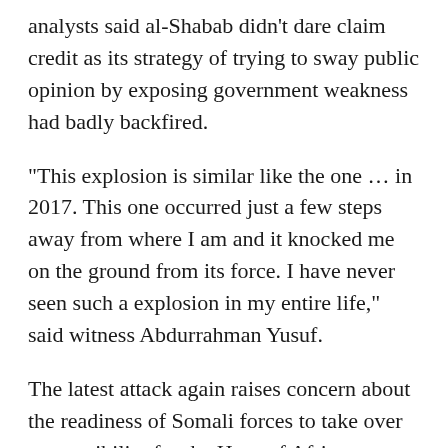analysts said al-Shabab didn't dare claim credit as its strategy of trying to sway public opinion by exposing government weakness had badly backfired.
“This explosion is similar like the one … in 2017. This one occurred just a few steps away from where I am and it knocked me on the ground from its force. I have never seen such a explosion in my entire life," said witness Abdurrahman Yusuf.
The latest attack again raises concern about the readiness of Somali forces to take over responsibility for the Horn of Africa country's security in the coming months from the AU force.
Al-Shabab, the target of a growing number of U.S. airstrikes since President Donald Trump took office,